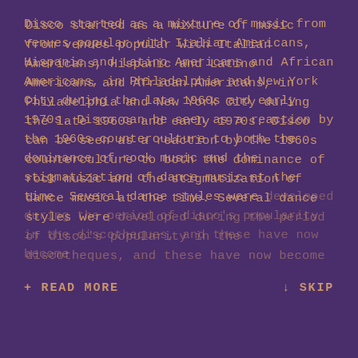Disco started as a mixture of music from venues popular with Italian Americans, Hispanic and Latino Americans and African Americans, in Philadelphia and New York City during the late 1960s and early 1970s. Disco can be seen as a reaction by the 1960s counterculture to both the dominance of rock music and the stigmatization of dance music at the time. Several dance styles were developed during the period of disco's popularity in the discotheques, and these have now become...
+ READ MORE
↓ SKIP